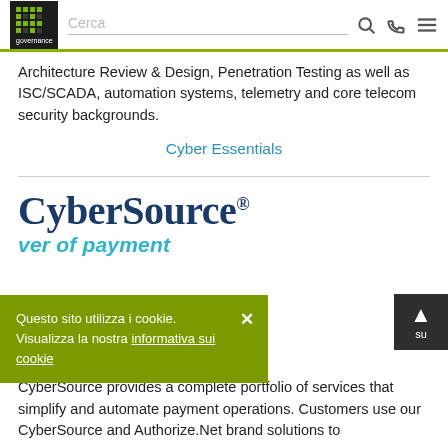IT Governance | Cerca [search bar with icons]
Architecture Review & Design, Penetration Testing as well as ISC/SCADA, automation systems, telemetry and core telecom security backgrounds.
Cyber Essentials
[Figure (logo): CyberSource logo with registered trademark symbol followed by italic teal text 'power of payment']
Questo sito utilizza i cookie. Visualizza la nostra informativa sui cookie
CyberSource provides a complete portfolio of services that simplify and automate payment operations. Customers use our CyberSource and Authorize.Net brand solutions to